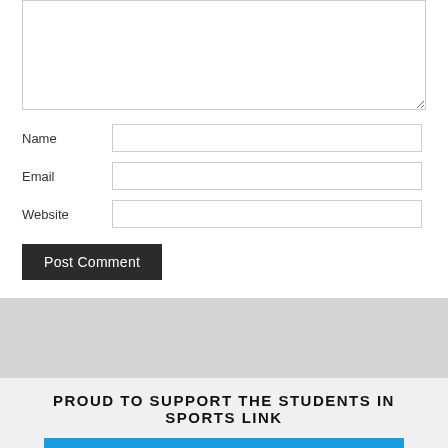[Figure (screenshot): Web comment form with textarea, Name, Email, Website fields and Post Comment button]
PROUD TO SUPPORT THE STUDENTS IN SPORTS LINK
[Figure (logo): Victory Honda 50 Years banner advertisement on blue background]